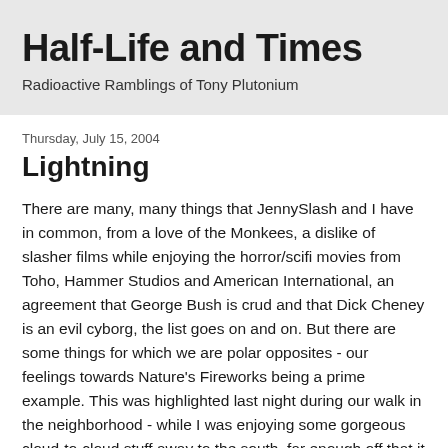Half-Life and Times
Radioactive Ramblings of Tony Plutonium
Thursday, July 15, 2004
Lightning
There are many, many things that JennySlash and I have in common, from a love of the Monkees, a dislike of slasher films while enjoying the horror/scifi movies from Toho, Hammer Studios and American International, an agreement that George Bush is crud and that Dick Cheney is an evil cyborg, the list goes on and on. But there are some things for which we are polar opposites - our feelings towards Nature's Fireworks being a prime example. This was highlighted last night during our walk in the neighborhood - while I was enjoying some gorgeous cloud-to-cloud stuff away to the south, far enough off that it was primarily lighting up the clouds in between the strikes and up (absolutely